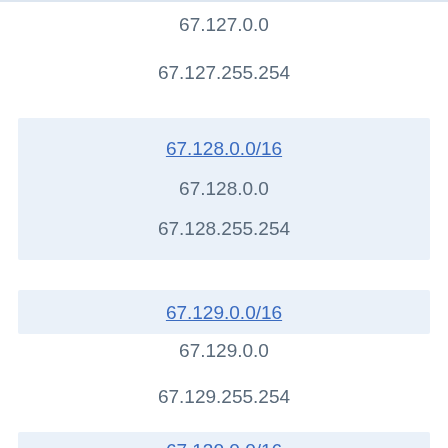67.127.0.0
67.127.255.254
67.128.0.0/16
67.128.0.0
67.128.255.254
67.129.0.0/16
67.129.0.0
67.129.255.254
67.130.0.0/16